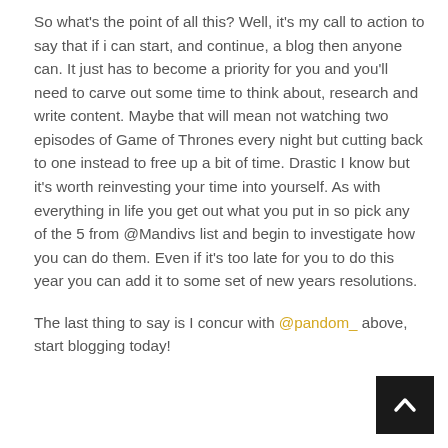So what's the point of all this? Well, it's my call to action to say that if i can start, and continue, a blog then anyone can. It just has to become a priority for you and you'll need to carve out some time to think about, research and write content. Maybe that will mean not watching two episodes of Game of Thrones every night but cutting back to one instead to free up a bit of time. Drastic I know but it's worth reinvesting your time into yourself. As with everything in life you get out what you put in so pick any of the 5 from @Mandivs list and begin to investigate how you can do them. Even if it's too late for you to do this year you can add it to some set of new years resolutions.
The last thing to say is I concur with @pandom_ above, start blogging today!
[Figure (other): Back to top button — black square with white upward-pointing chevron arrow]